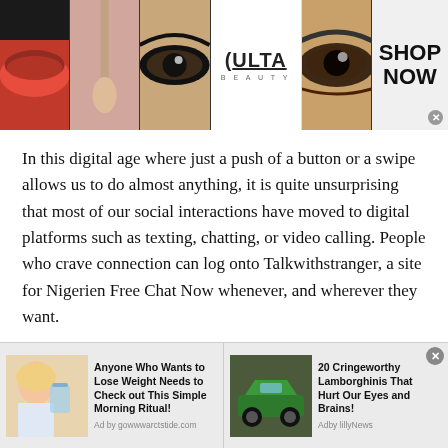[Figure (photo): Beauty/cosmetics banner advertisement showing makeup images (lips, brush, eyes), Ulta Beauty logo, and 'SHOP NOW' call to action]
In this digital age where just a push of a button or a swipe allows us to do almost anything, it is quite unsurprising that most of our social interactions have moved to digital platforms such as texting, chatting, or video calling. People who crave connection can log onto Talkwithstranger, a site for Nigerien Free Chat Now whenever, and wherever they want.

The platform brings tremendous advantages to its users which explains the rapid growth of users on a daily basis
[Figure (photo): Bottom advertisement bar with two ads: 'Anyone Who Wants to Lose Weight Needs to Check out This Simple Morning Ritual!' with illustration of woman drinking water, and '20 Cringeworthy Lamborghinis That Hurt Our Eyes and Brains!' with photo of green Lamborghini]